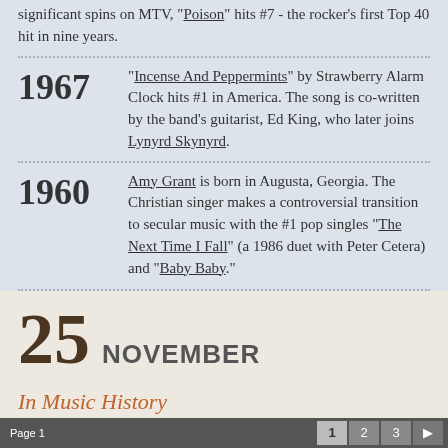significant spins on MTV, "Poison" hits #7 - the rocker's first Top 40 hit in nine years.
1967 "Incense And Peppermints" by Strawberry Alarm Clock hits #1 in America. The song is co-written by the band's guitarist, Ed King, who later joins Lynyrd Skynyrd.
1960 Amy Grant is born in Augusta, Georgia. The Christian singer makes a controversial transition to secular music with the #1 pop singles "The Next Time I Fall" (a 1986 duet with Peter Cetera) and "Baby Baby."
25 NOVEMBER
In Music History
Page 1   1  2  3  ▶